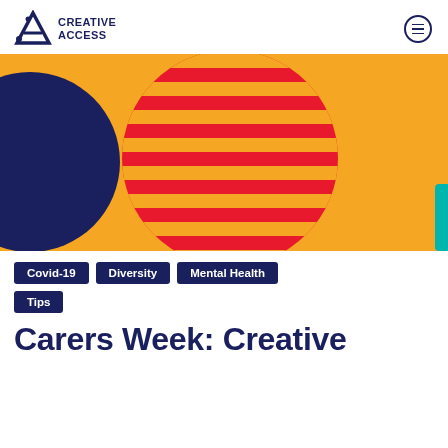CREATIVE ACCESS
[Figure (illustration): Decorative graphic on orange/amber background featuring a large dark navy blue semi-circle on the left and a large red circle with horizontal red stripes in the center, with a small teal shape visible at the far right edge.]
Covid-19
Diversity
Mental Health
Tips
Carers Week: Creative